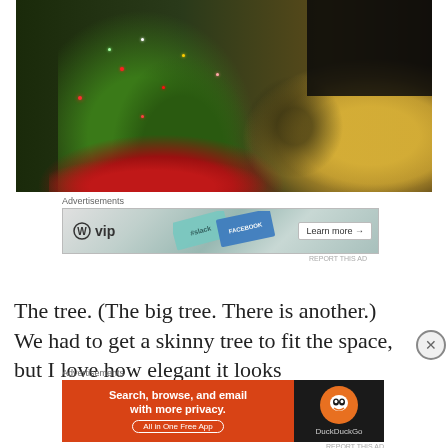[Figure (photo): Photograph of a decorated Christmas tree base with red poinsettias and ornaments, a patterned yellow and dark rug visible in the background, taken indoors]
Advertisements
[Figure (screenshot): Advertisement banner showing WordPress VIP logo with slack, FACEBOOK text and a 'Learn more →' button]
REPORT THIS AD
The tree. (The big tree. There is another.) We had to get a skinny tree to fit the space, but I love how elegant it looks
Advertisements
[Figure (screenshot): Advertisement banner for DuckDuckGo showing 'Search, browse, and email with more privacy. All in One Free App' on orange background with DuckDuckGo logo on dark background]